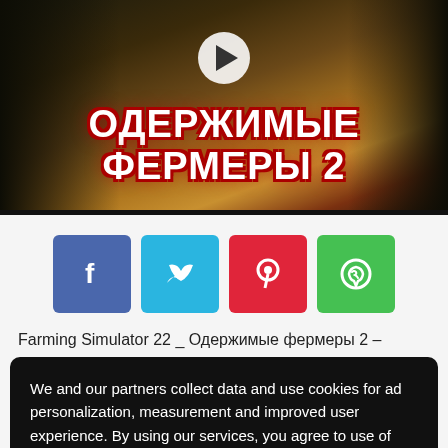[Figure (screenshot): Video thumbnail with Cyrillic text 'ОДЕРЖИМЫЕ ФЕРМЕРЫ 2' (Obsessed Farmers 2) on dark background with play button]
[Figure (infographic): Social share buttons: Facebook (blue), Twitter (cyan), Pinterest (red), WhatsApp (green)]
Farming Simulator 22 _ Одержимые фермеры 2 –
We and our partners collect data and use cookies for ad personalization, measurement and improved user experience. By using our services, you agree to use of cookies by this site and our partners. Privacy Policy
More information   Accept
Спонсировать на Patreon –